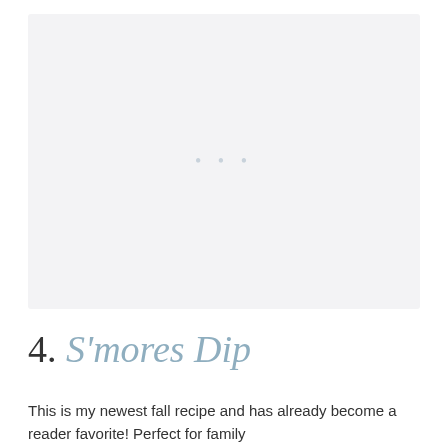[Figure (photo): Large image placeholder with light gray background and three small dots in the center, representing a food photo (S'mores Dip)]
4. S'mores Dip
This is my newest fall recipe and has already become a reader favorite! Perfect for family